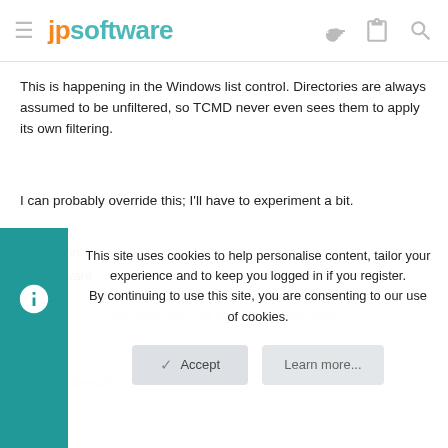jpsoftware
This is happening in the Windows list control. Directories are always assumed to be unfiltered, so TCMD never even sees them to apply its own filtering.
I can probably override this; I'll have to experiment a bit.
Rex Conn
JP Software
You must log in or register to reply here.
Similar threads
This site uses cookies to help personalise content, tailor your experience and to keep you logged in if you register.
By continuing to use this site, you are consenting to our use of cookies.